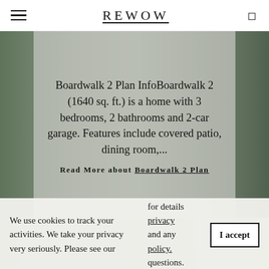REWOW
Boardwalk 2 Plan InfoBoardwalk 2 (1640 sq. ft.) is a home with 3 bedrooms, 2 bathrooms and 2-car garage. Features include covered patio, dining room,...
Read More about Boardwalk 2 Plan
We use cookies to track your activities. We take your privacy very seriously. Please see our for details privacy and any policy. questions.